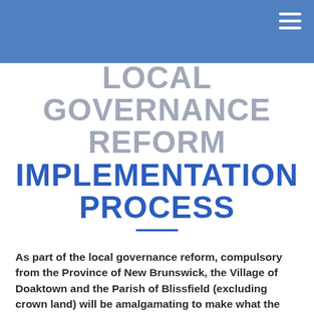LOCAL GOVERNANCE REFORM IMPLEMENTATION PROCESS
As part of the local governance reform, compulsory from the Province of New Brunswick, the Village of Doaktown and the Parish of Blissfield (excluding crown land) will be amalgamating to make what the province has